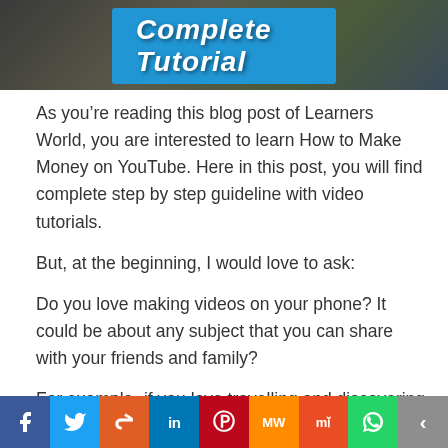[Figure (photo): Banner image showing money/cash with a blue overlay title bar reading 'Complete Tutorial' over a dark background with scattered currency notes]
As you're reading this blog post of Learners World, you are interested to learn How to Make Money on YouTube. Here in this post, you will find complete step by step guideline with video tutorials.
But, at the beginning, I would love to ask:
Do you love making videos on your phone? It could be about any subject that you can share with your friends and family?
For example- if you love travelling and discovering new places, you can make videos about the beautiful scenes
[Figure (infographic): Social sharing bar with icons for Facebook, Twitter, Reddit, LinkedIn, Pinterest, MixW, Mix, WhatsApp, and Share]